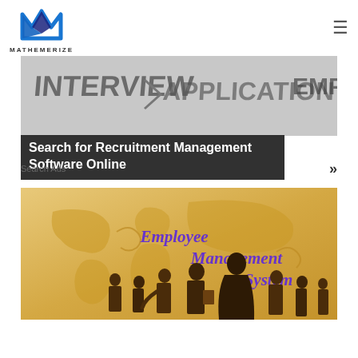[Figure (logo): Mathemerize logo — blue and dark M-shaped mountain icon above the text MATHEMERIZE]
[Figure (screenshot): Recruitment-themed banner showing blurred background text INTERVIEW APPLICATION EMPLOY with dark overlay box containing white bold text]
Search for Recruitment Management Software Online
Search Ads
[Figure (photo): Employee Management System banner — golden world map background with silhouettes of business people, purple italic text reading Employee Management System]
Employee Management System